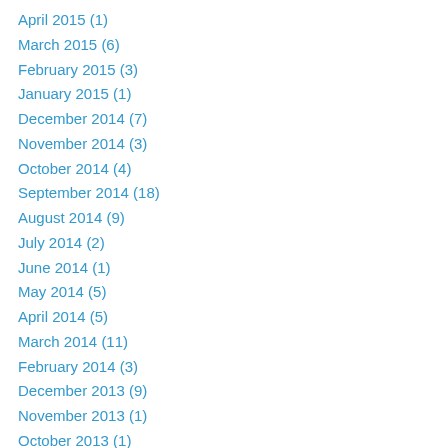April 2015 (1)
March 2015 (6)
February 2015 (3)
January 2015 (1)
December 2014 (7)
November 2014 (3)
October 2014 (4)
September 2014 (18)
August 2014 (9)
July 2014 (2)
June 2014 (1)
May 2014 (5)
April 2014 (5)
March 2014 (11)
February 2014 (3)
December 2013 (9)
November 2013 (1)
October 2013 (1)
September 2013 (2)
August 2013 (15)